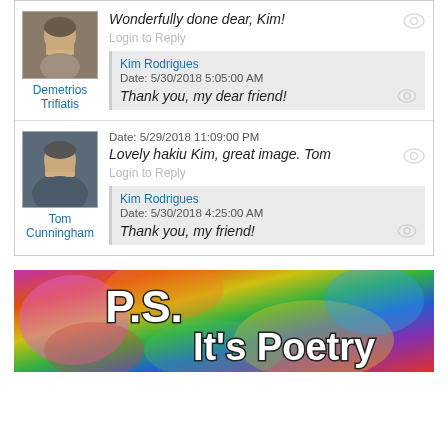Wonderfully done dear, Kim!
Login to Reply
Kim Rodrigues
Date: 5/30/2018 5:05:00 AM
Thank you, my dear friend!
Demetrios Trifiatis
Date: 5/29/2018 11:09:00 PM
Lovely hakiu Kim, great image. Tom
Login to Reply
Kim Rodrigues
Date: 5/30/2018 4:25:00 AM
Thank you, my friend!
Tom Cunningham
[Figure (illustration): Colorful abstract background banner with text 'P.S. It's Poetry' in white bold font]